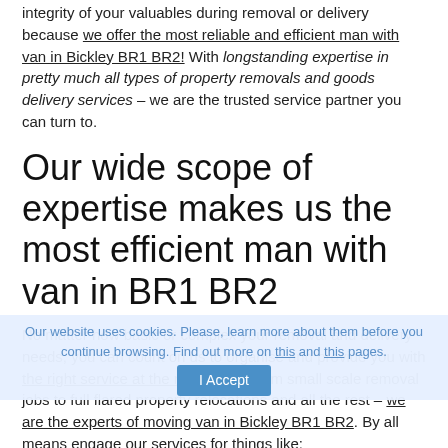integrity of your valuables during removal or delivery because we offer the most reliable and efficient man with van in Bickley BR1 BR2! With longstanding expertise in pretty much all types of property removals and goods delivery services – we are the trusted service partner you can turn to.
Our wide scope of expertise makes us the most efficient man with van in BR1 BR2
No matter how basic or complex your removal and delivery needs, you can count on us to organise and provide you with the right service at the right price. From small scale removal jobs to full flared property relocations and all the rest – we are the experts of moving van in Bickley BR1 BR2. By all means engage our services for things like:
(All kinds of) Residential and commercial property removals;
Relocation of single items and high value goods (artwork, music instruments etc.);
Collection/delivery of furniture, appliances, equipment and